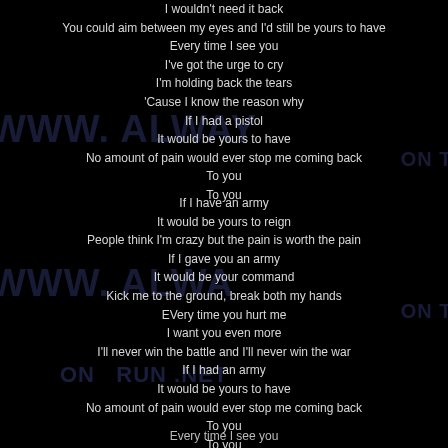I wouldn't need it back
You could aim between my eyes and I'd still be yours to have
Every time I see you
I've got the urge to cry
I'm holding back the tears
'Cause I know the reason why
If I had a pistol
It would be yours to have
No amount of pain would ever stop me coming back
To you
To you
If I have an army
It would be yours to reign
People think I'm crazy but the pain is worth the pain
If I gave you an army
It would be your command
Kick me to the ground, break both my hands
EVery time you hurt me
I want you even more
I'll never win the battle and I'll never win the war
If I had an army
It would be yours to have
No amount of pain would ever stop me coming back
To you
To you
To you
Every time I see you